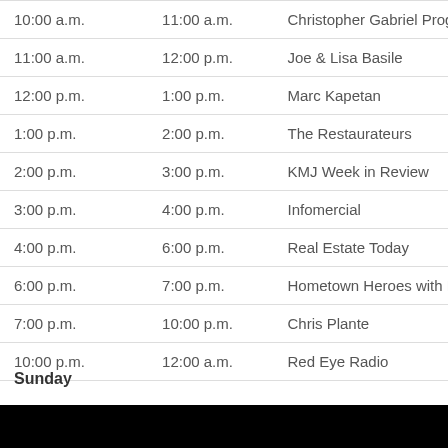| Start | End | Program |
| --- | --- | --- |
| 10:00 a.m. | 11:00 a.m. | Christopher Gabriel Program |
| 11:00 a.m. | 12:00 p.m. | Joe & Lisa Basile |
| 12:00 p.m. | 1:00 p.m. | Marc Kapetan |
| 1:00 p.m. | 2:00 p.m. | The Restaurateurs |
| 2:00 p.m. | 3:00 p.m. | KMJ Week in Review |
| 3:00 p.m. | 4:00 p.m. | Infomercial |
| 4:00 p.m. | 6:00 p.m. | Real Estate Today |
| 6:00 p.m. | 7:00 p.m. | Hometown Heroes with Paul |
| 7:00 p.m. | 10:00 p.m. | Chris Plante |
| 10:00 p.m. | 12:00 a.m. | Red Eye Radio |
Sunday